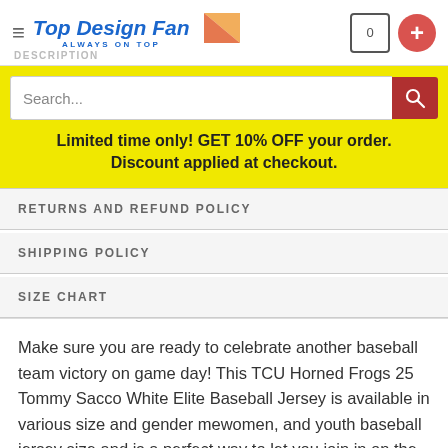Top Design Fan — ALWAYS ON TOP
Search...
Limited time only! GET 10% OFF your order. Discount applied at checkout.
RETURNS AND REFUND POLICY
SHIPPING POLICY
SIZE CHART
Make sure you are ready to celebrate another baseball team victory on game day! This TCU Horned Frogs 25 Tommy Sacco White Elite Baseball Jersey is available in various size and gender me... women, and youth baseball jersey size and is a perfect way to let you join in on the fun. It boasts